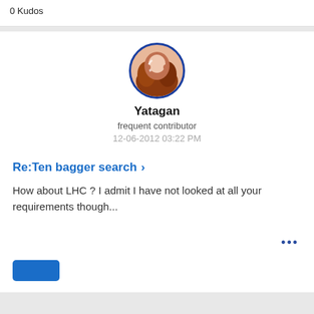0 Kudos
[Figure (illustration): Circular avatar image with blue border, showing a brown and pink illustrated character (Yatagan user avatar)]
Yatagan
frequent contributor
12-06-2012 03:22 PM
Re:Ten bagger search >
How about LHC ? I admit I have not looked at all your requirements though...
...